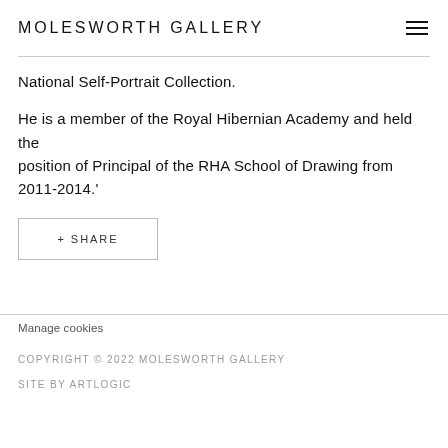MOLESWORTH GALLERY
National Self-Portrait Collection.
He is a member of the Royal Hibernian Academy and held the position of Principal of the RHA School of Drawing from 2011-2014.'
+ SHARE
Manage cookies
COPYRIGHT © 2022 MOLESWORTH GALLERY
SITE BY ARTLOGIC